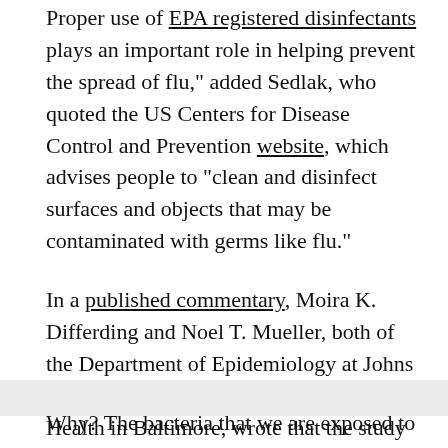Proper use of EPA registered disinfectants plays an important role in helping prevent the spread of flu," added Sedlak, who quoted the US Centers for Disease Control and Prevention website, which advises people to "clean and disinfect surfaces and objects that may be contaminated with germs like flu."
In a published commentary, Moira K. Differding and Noel T. Mueller, both of the Department of Epidemiology at Johns Hopkins Bloomberg School of Public Health in Baltimore, wrote that the study results were "biologically plausible."
Why? The bacteria that we are exposed to during our